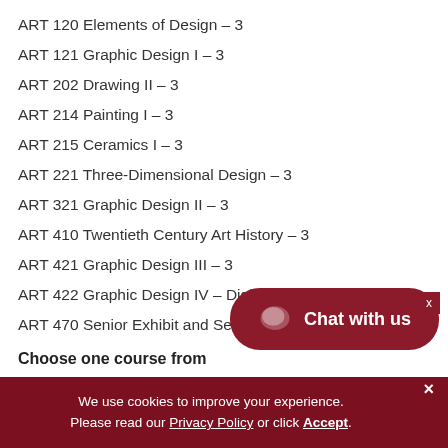ART 120 Elements of Design – 3
ART 121 Graphic Design I – 3
ART 202 Drawing II – 3
ART 214 Painting I – 3
ART 215 Ceramics I – 3
ART 221 Three-Dimensional Design – 3
ART 321 Graphic Design II – 3
ART 410 Twentieth Century Art History – 3
ART 421 Graphic Design III – 3
ART 422 Graphic Design IV – Digital Illustration – 3
ART 470 Senior Exhibit and Seminar – 1
Choose one course from
ART 310* Art History I – 3
We use cookies to improve your experience. Please read our Privacy Policy or click Accept.